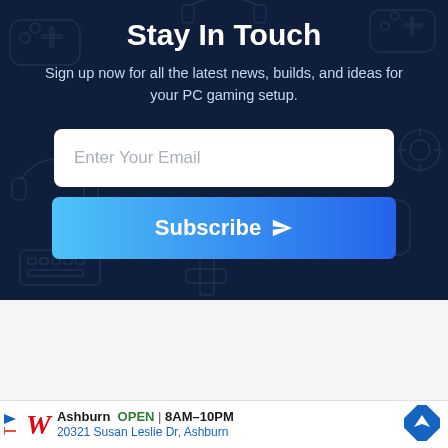Stay In Touch
Sign up now for all the latest news, builds, and ideas for your PC gaming setup.
[Figure (screenshot): Email input field with placeholder text 'Enter Your Email']
[Figure (screenshot): Subscribe button with gradient blue background and send icon]
[Figure (infographic): Walgreens advertisement showing Ashburn location, OPEN 8AM-10PM, 20321 Susan Leslie Dr Ashburn, with navigation icon]